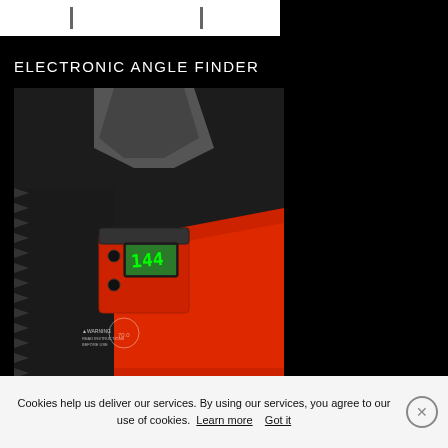[Figure (photo): Top portion of a product page showing two vertical tick/handle marks on a white bar background, partially visible product image at top]
ELECTRONIC ANGLE FINDER
[Figure (photo): Close-up photo of an electronic digital angle finder (inclinometer) device with red body and green LCD display showing '144', attached to what appears to be a saw blade or toothed tool]
Cookies help us deliver our services. By using our services, you agree to our use of cookies. Learn more  Got it